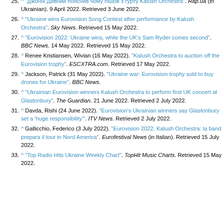25. ^ "Джонні Дивний пояснив чому пішов з гурту Kalush Orchestra". Rap.ua (in Ukrainian). 9 April 2022. Retrieved 3 June 2022.
26. ^ "Ukraine wins Eurovision Song Contest after performance by Kalush Orchestra". Sky News. Retrieved 15 May 2022.
27. ^ "Eurovision 2022: Ukraine wins, while the UK's Sam Ryder comes second". BBC News. 14 May 2022. Retrieved 15 May 2022.
28. ^ Renee Kristiansen, Wivian (16 May 2022). "Kalush Orchestra to auction off the Eurovision trophy". ESCXTRA.com. Retrieved 17 May 2022.
29. ^ Jackson, Patrick (31 May 2022). "Ukraine war: Eurovision trophy sold to buy drones for Ukraine". BBC News.
30. ^ "Ukrainian Eurovision winners Kalush Orchestra to perform first UK concert at Glastonbury". The Guardian. 21 June 2022. Retrieved 2 July 2022.
31. ^ Davda, Rishi (24 June 2022). "Eurovision's Ukrainian winners say Glastonbury set a 'huge responsibility'". ITV News. Retrieved 2 July 2022.
32. ^ Gallicchio, Federico (3 July 2022). "Eurovision 2022, Kalush Orchestra: la band prepara il tour in Nord America". Eurofestival News (in Italian). Retrieved 15 July 2022.
33. ^ "Top Radio Hits Ukraine Weekly Chart". TopHit Music Charts. Retrieved 15 May 2022.